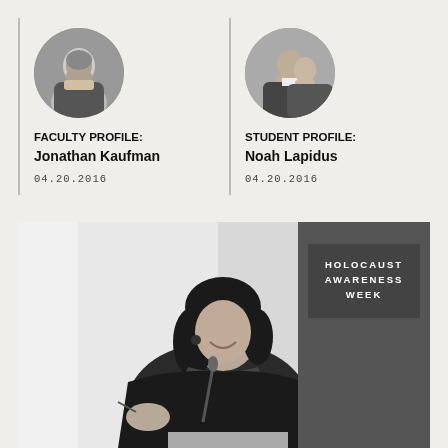[Figure (photo): Circular headshot of Jonathan Kaufman, middle-aged man smiling in dark jacket]
FACULTY PROFILE: Jonathan Kaufman
04.20.2016
[Figure (photo): Circular headshot of Noah Lapidus, young man in suit with another person]
STUDENT PROFILE: Noah Lapidus
04.20.2016
[Figure (photo): Black and white photo of a woman speaking at a podium with microphone, text overlay reads HOLOCAUST AWARENESS WEEK]